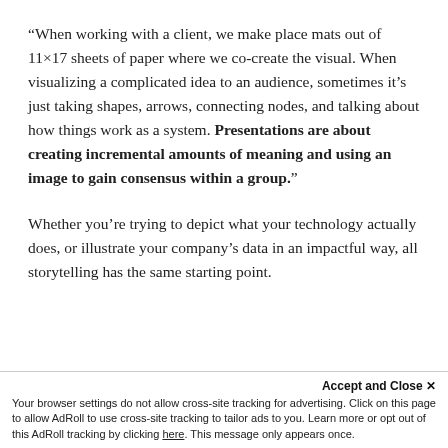“When working with a client, we make place mats out of 11×17 sheets of paper where we co-create the visual. When visualizing a complicated idea to an audience, sometimes it’s just taking shapes, arrows, connecting nodes, and talking about how things work as a system. Presentations are about creating incremental amounts of meaning and using an image to gain consensus within a group.”
Whether you’re trying to depict what your technology actually does, or illustrate your company’s data in an impactful way, all storytelling has the same starting point.
Accept and Close × Your browser settings do not allow cross-site tracking for advertising. Click on this page to allow AdRoll to use cross-site tracking to tailor ads to you. Learn more or opt out of this AdRoll tracking by clicking here. This message only appears once.